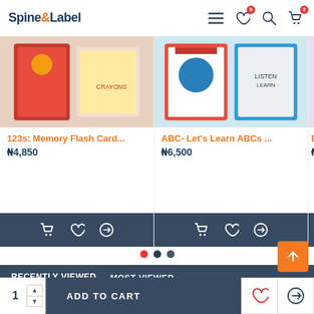Spine&Label
123s: Memory Flash Card...
₦4,850
ABC- Let's Learn ABCs ...
₦6,500
RECENTLY VIEWED   MOST VIEWED
[Figure (illustration): Book cover: The Little Mermaid and other fairy tales, story collection]
ADD TO CART